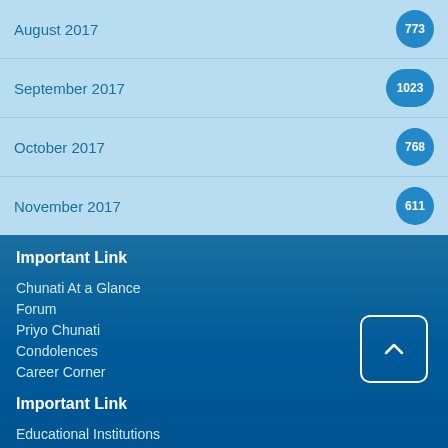| Month | Count |
| --- | --- |
| August 2017 | 773 |
| September 2017 | 1023 |
| October 2017 | 768 |
| November 2017 | 611 |
Important Link
Chunati At a Glance
Forum
Priyo Chunati
Condolences
Career Corner
Important Link
Educational Institutions
Clubs
Chunati High School Ex-Students Association
Terms of Use